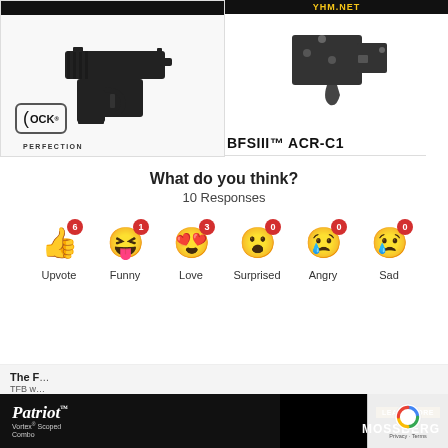[Figure (photo): Glock pistol advertisement with Glock Perfection logo on left; BFSIII ACR-C1 trigger mechanism advertisement with YHM.NET on right]
What do you think?
10 Responses
[Figure (infographic): Reaction emojis row: Upvote (6), Funny (1), Love (3), Surprised (0), Angry (0), Sad (0)]
[Figure (photo): Bottom advertisement: Patriot Vortex Scoped Combo - Mossberg Learn More banner ad]